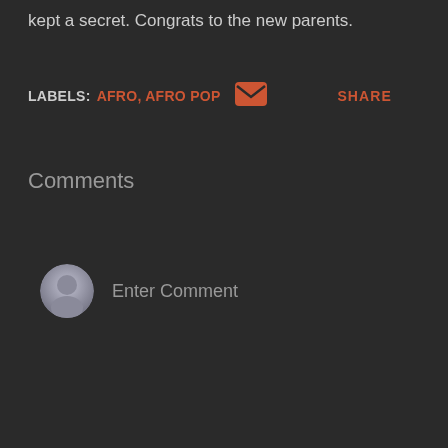kept a secret. Congrats to the new parents.
LABELS: AFRO, AFRO POP   SHARE
Comments
Enter Comment